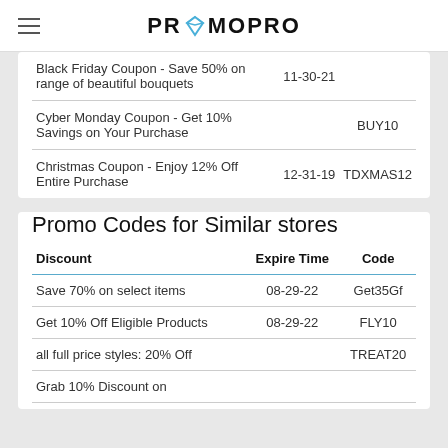PROMOPRO
| Discount | Expire Time | Code |
| --- | --- | --- |
| Black Friday Coupon - Save 50% on range of beautiful bouquets | 11-30-21 |  |
| Cyber Monday Coupon - Get 10% Savings on Your Purchase |  | BUY10 |
| Christmas Coupon - Enjoy 12% Off Entire Purchase | 12-31-19 | TDXMAS12 |
Promo Codes for Similar stores
| Discount | Expire Time | Code |
| --- | --- | --- |
| Save 70% on select items | 08-29-22 | Get35Gf |
| Get 10% Off Eligible Products | 08-29-22 | FLY10 |
| all full price styles: 20% Off |  | TREAT20 |
| Grab 10% Discount on |  |  |